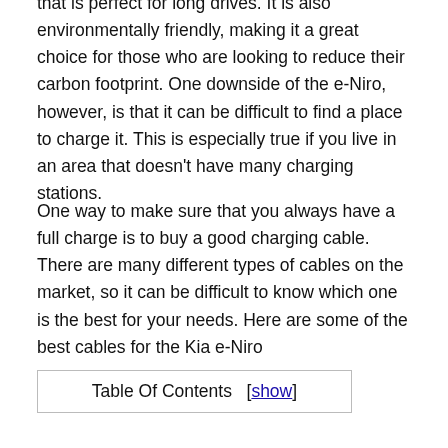that is perfect for long drives. It is also environmentally friendly, making it a great choice for those who are looking to reduce their carbon footprint. One downside of the e-Niro, however, is that it can be difficult to find a place to charge it. This is especially true if you live in an area that doesn't have many charging stations.
One way to make sure that you always have a full charge is to buy a good charging cable. There are many different types of cables on the market, so it can be difficult to know which one is the best for your needs. Here are some of the best cables for the Kia e-Niro
| Table Of Contents | [show] |
| --- | --- |